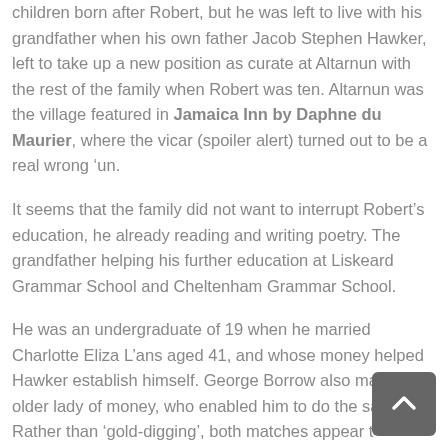children born after Robert, but he was left to live with his grandfather when his own father Jacob Stephen Hawker, left to take up a new position as curate at Altarnun with the rest of the family when Robert was ten. Altarnun was the village featured in Jamaica Inn by Daphne du Maurier, where the vicar (spoiler alert) turned out to be a real wrong ‘un.
It seems that the family did not want to interrupt Robert's education, he already reading and writing poetry. The grandfather helping his further education at Liskeard Grammar School and Cheltenham Grammar School.
He was an undergraduate of 19 when he married Charlotte Eliza L’ans aged 41, and whose money helped Hawker establish himself. George Borrow also married an older lady of money, who enabled him to do the same. Rather than ‘gold-digging’, both matches appear to have been from mutual love and respect. At any rate, Hawker could now